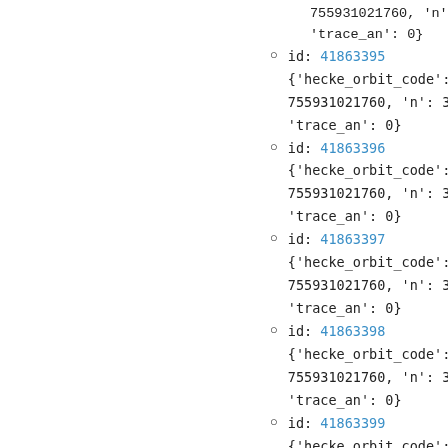755931021760, 'n': 395, 'trace_an': 0}
id: 41863395
{'hecke_orbit_code': 755931021760, 'n': 396, 'trace_an': 0}
id: 41863396
{'hecke_orbit_code': 755931021760, 'n': 397, 'trace_an': 0}
id: 41863397
{'hecke_orbit_code': 755931021760, 'n': 398, 'trace_an': 0}
id: 41863398
{'hecke_orbit_code': 755931021760, 'n': 399, 'trace_an': 0}
id: 41863399
{'hecke_orbit_code':